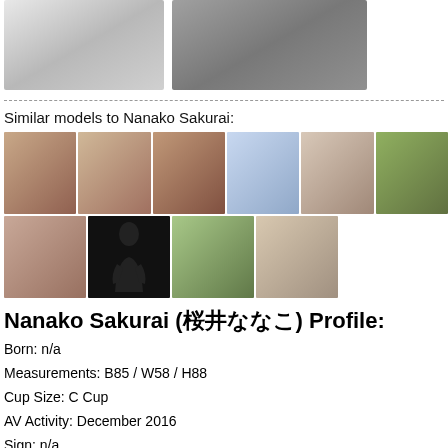[Figure (photo): Two portrait photos of Nanako Sakurai at the top of the page]
Similar models to Nanako Sakurai:
[Figure (photo): Grid of 10 thumbnail photos of similar models, arranged in 2 rows]
Nanako Sakurai (桜井ななこ) Profile:
Born: n/a
Measurements: B85 / W58 / H88
Cup Size: C Cup
AV Activity: December 2016
Sign: n/a
Blood Type: n/a
Height: 158cm